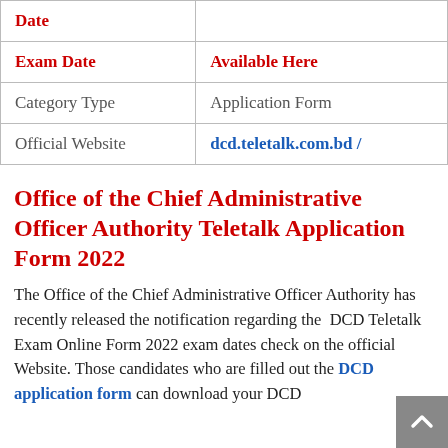| Date |  |
| Exam Date | Available Here |
| Category Type | Application Form |
| Official Website | dcd.teletalk.com.bd / |
Office of the Chief Administrative Officer Authority Teletalk Application Form 2022
The Office of the Chief Administrative Officer Authority has recently released the notification regarding the DCD Teletalk Exam Online Form 2022 exam dates check on the official Website. Those candidates who are filled out the DCD application form can download your DCD